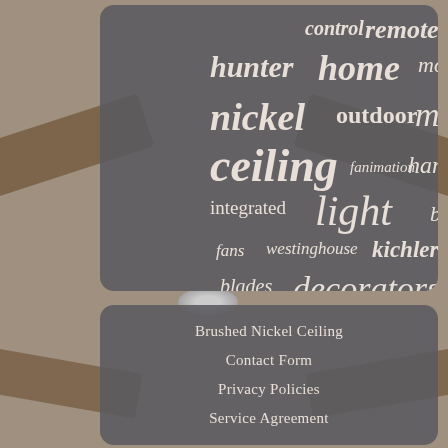[Figure (photo): Background photo of a ceiling fan with wooden blades on a light background, partially visible on left and right sides of the page.]
control remote lighting hunter home modern large nickel outdoor mount livex ceiling fanimation hampton inch integrated light blade chandelier fans westinghouse kichler flush blades decorators aire
Brushed Nickel Ceiling
Contact Form
Privacy Policies
Service Agreement